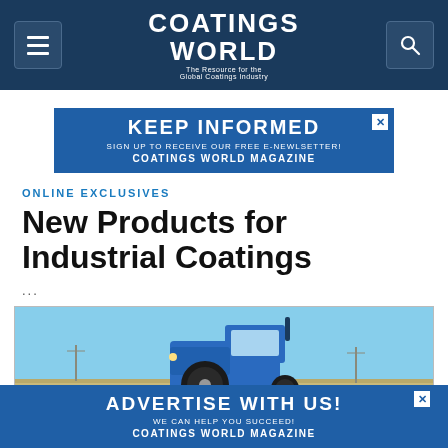COATINGS WORLD — The Resource for the Global Coatings Industry
[Figure (infographic): Keep Informed advertisement banner — Sign up to receive our free e-newsletter! Coatings World Magazine]
ONLINE EXCLUSIVES
New Products for Industrial Coatings
...
[Figure (photo): Blue farm tractor in a field under a clear blue sky]
[Figure (infographic): Advertise With Us! We can help you succeed! Coatings World Magazine]